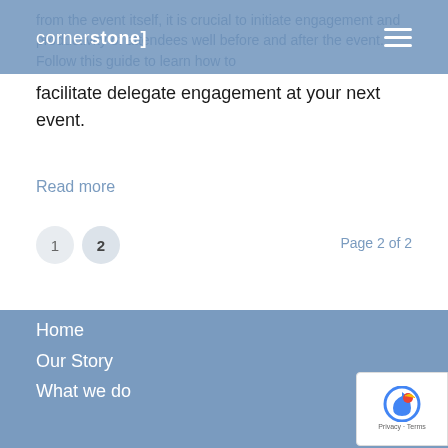cornerstone
from the event itself, it is crucial to initiate engagement and productivity of attendees well before and after the event. Follow this guide to learn how to facilitate delegate engagement at your next event.
Read more
1  2  Page 2 of 2
Home
Our Story
What we do